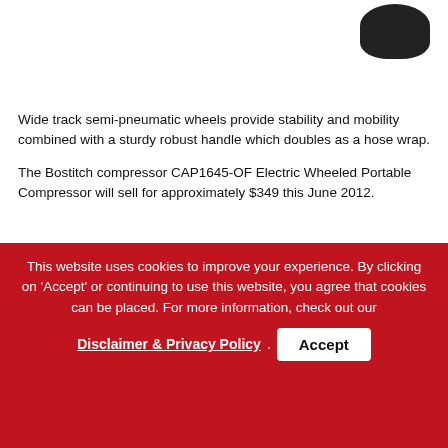[Figure (photo): Partial product image of a dark/black circular component visible at the top right of the page]
Wide track semi-pneumatic wheels provide stability and mobility combined with a sturdy robust handle which doubles as a hose wrap.
The Bostitch compressor CAP1645-OF Electric Wheeled Portable Compressor will sell for approximately $349 this June 2012.
• The Bostitch compressor CAP1615-OF Workshop Compressor will sell for approximately $369 this June 2012.
[Figure (screenshot): Social sharing buttons: Tweet (Twitter, blue) and Save (Pinterest, red)]
This website uses cookies to improve your experience. By clicking on 'Accept' or continuing to use this website, you agree that cookies can be placed. For more information, check out our Disclaimer & Privacy Policy . Accept